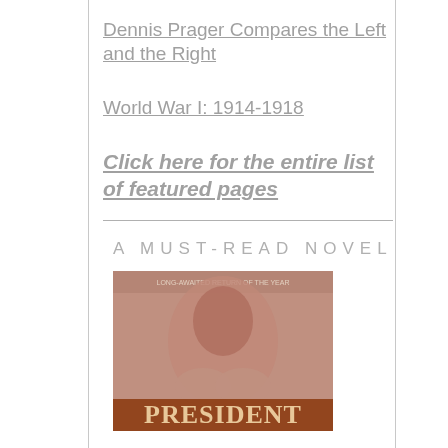Dennis Prager Compares the Left and the Right
World War I: 1914-1918
Click here for the entire list of featured pages
A MUST-READ NOVEL
[Figure (photo): Book cover of a novel titled 'President', showing a close-up of a person's face or hands with reddish-brown tones, with the word PRESIDENT visible at the bottom in large letters.]